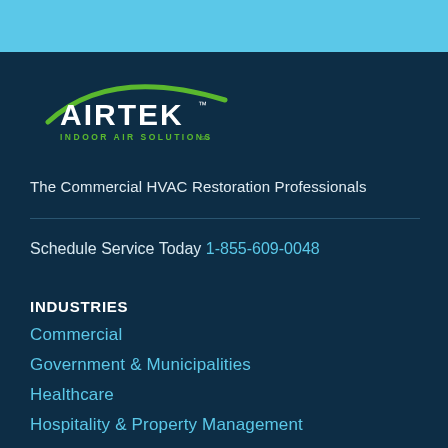[Figure (logo): AIRTEK Indoor Air Solutions logo with green arc over white AIRTEK text and green subtitle text]
The Commercial HVAC Restoration Professionals
Schedule Service Today 1-855-609-0048
INDUSTRIES
Commercial
Government & Municipalities
Healthcare
Hospitality & Property Management
Insurance